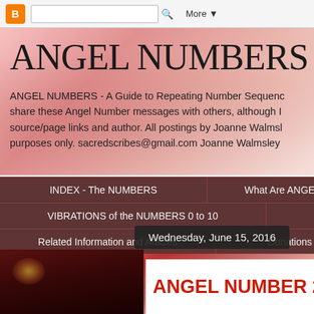Blogger navigation bar with search box and More button
ANGEL NUMBERS - Joan
ANGEL NUMBERS - A Guide to Repeating Number Sequences share these Angel Number messages with others, although I source/page links and author. All postings by Joanne Walmsley purposes only. sacredscribes@gmail.com Joanne Walmsley
INDEX - The NUMBERS
What Are ANGEL NUMBERS?
VIBRATIONS of the NUMBERS 0 to 10
ANGEL NUMBER Boo
Related Information and Articles
Donations / Gifts
Get A
Wednesday, June 15, 2016
ANGEL NUMBER 29